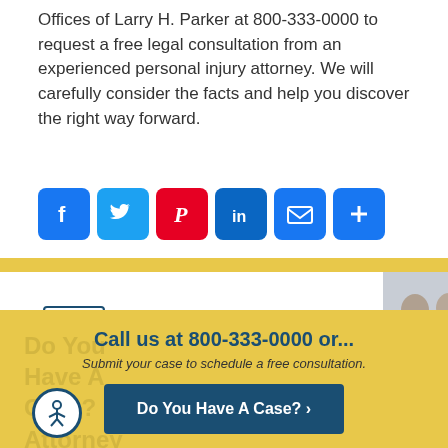Offices of Larry H. Parker at 800-333-0000 to request a free legal consultation from an experienced personal injury attorney. We will carefully consider the facts and help you discover the right way forward.
[Figure (infographic): Row of social media share buttons: Facebook (blue), Twitter (blue), Pinterest (red), LinkedIn (blue), Email (blue), Plus/More (blue)]
[Figure (infographic): Subscribe to our Blog by Email banner with envelope icons, Subscribe heading, and CLICK HERE button. Two attorneys in suits visible on the right side.]
Call us at 800-333-0000 or...
Submit your case to schedule a free consultation.
Do You Have A Case? >